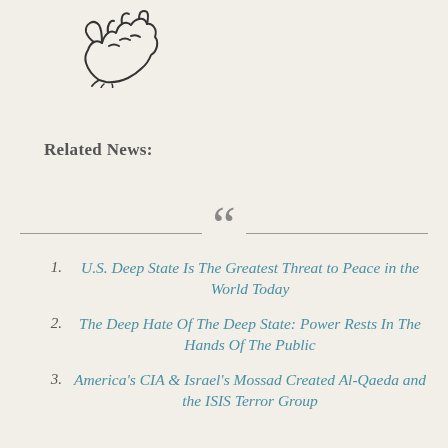[Figure (logo): Stylized hand/logo illustration in sketch style]
Related News:
U.S. Deep State Is The Greatest Threat to Peace in the World Today
The Deep Hate Of The Deep State: Power Rests In The Hands Of The Public
America's CIA & Israel's Mossad Created Al-Qaeda and the ISIS Terror Group